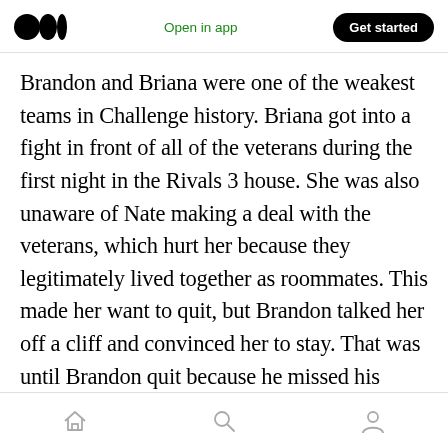Medium logo | Open in app | Get started
Brandon and Briana were one of the weakest teams in Challenge history. Briana got into a fight in front of all of the veterans during the first night in the Rivals 3 house. She was also unaware of Nate making a deal with the veterans, which hurt her because they legitimately lived together as roommates. This made her want to quit, but Brandon talked her off a cliff and convinced her to stay. That was until Brandon quit because he missed his girlfriend who he had been dating for less than six months and is currently not together with.
Home | Search | Profile